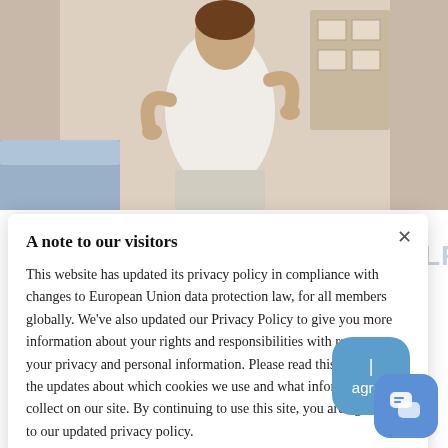[Figure (photo): Photo of a person holding their lower back in pain, standing in a bedroom]
A note to our visitors
This website has updated its privacy policy in compliance with changes to European Union data protection law, for all members globally. We've also updated our Privacy Policy to give you more information about your rights and responsibilities with respect to your privacy and personal information. Please read this to review the updates about which cookies we use and what information we collect on our site. By continuing to use this site, you are agreeing to our updated privacy policy.